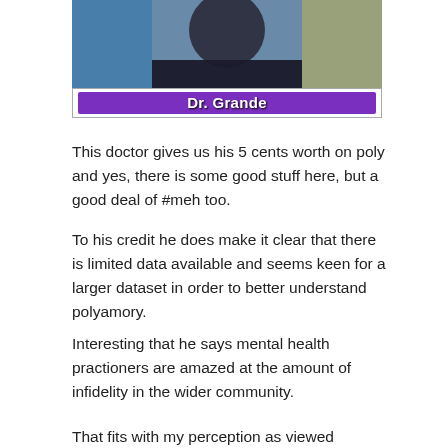[Figure (photo): Photo of Dr. Grande, a person wearing dark clothing, with a purple name bar overlay reading 'Dr. Grande']
This doctor gives us his 5 cents worth on poly and yes, there is some good stuff here, but a good deal of #meh too.
To his credit he does make it clear that there is limited data available and seems keen for a larger dataset in order to better understand polyamory.
Interesting that he says mental health practioners are amazed at the amount of infidelity in the wider community.
That fits with my perception as viewed through the lens